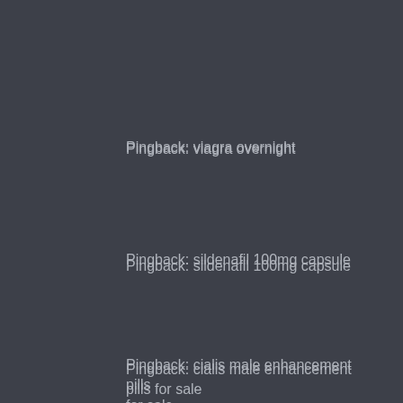Pingback: viagra overnight
Pingback: sildenafil 100mg capsule
Pingback: cialis male enhancement pills for sale
Pingback: tadalafil cost uk